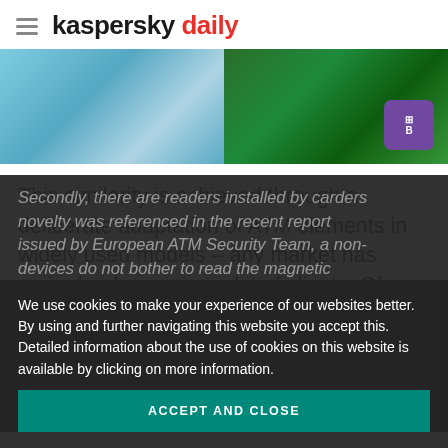kaspersky daily
[Figure (photo): Photo strip showing ATM machine elements — left side shows a person in blue top near ATM components, right side shows a green ATM panel with a purple badge/label]
This similarity is achieved through a deliberate adaptation of ATM elements in widely used models – any market has major banks serving a lot of clients. Of course, banks use anti-skimming techniques as a counter measure.
Secondly, there are readers installed by carders novelty was referenced in the recent report issued by European ATM Security Team, a non- devices do not bother to read the magnetic
We use cookies to make your experience of our websites better. By using and further navigating this website you accept this. Detailed information about the use of cookies on this website is available by clicking on more information.
ACCEPT AND CLOSE